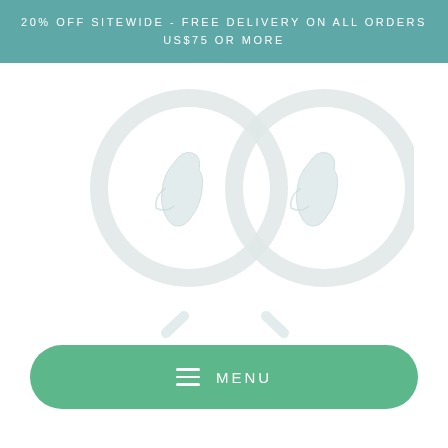20% OFF SITEWIDE - FREE DELIVERY ON ALL ORDERS US$75 OR MORE
[Figure (photo): Two transparent silicone ear hooks with bird/penguin-shaped design, shown side by side on a white background]
MENU